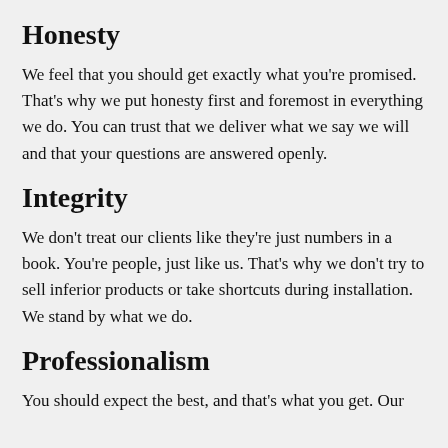Honesty
We feel that you should get exactly what you're promised. That's why we put honesty first and foremost in everything we do. You can trust that we deliver what we say we will and that your questions are answered openly.
Integrity
We don't treat our clients like they're just numbers in a book. You're people, just like us. That's why we don't try to sell inferior products or take shortcuts during installation. We stand by what we do.
Professionalism
You should expect the best, and that's what you get. Our